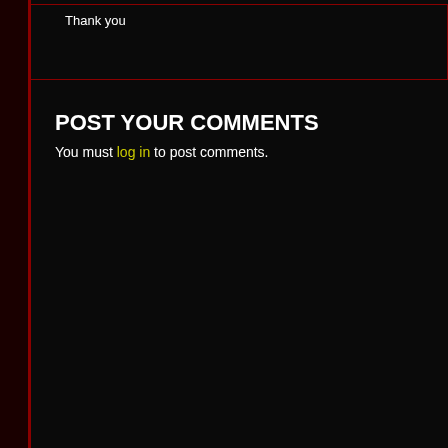Thank you
POST YOUR COMMENTS
You must log in to post comments.